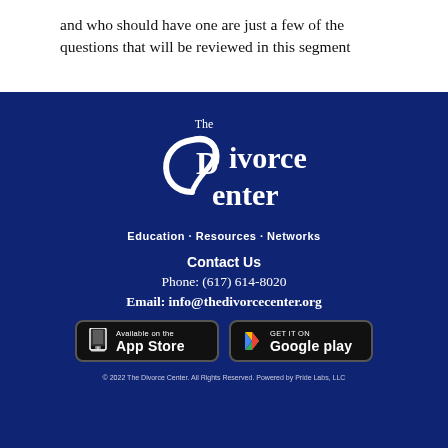and who should have one are just a few of the questions that will be reviewed in this segment
[Figure (logo): The Divorce Center logo with stylized D/C swirl icon and text 'The Divorce Center' followed by tagline 'Education · Resources · Networks' on dark navy background]
Contact Us
Phone: (617) 614-8020
Email: info@thedivorcecenter.org
[Figure (other): App Store and Google Play download buttons]
© 2022 The Divorce Center. All Rights Reserved. Powered by Pride Labs, LLC